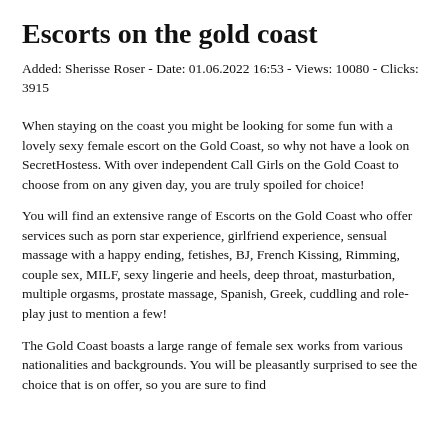Escorts on the gold coast
Added: Sherisse Roser - Date: 01.06.2022 16:53 - Views: 10080 - Clicks: 3915
When staying on the coast you might be looking for some fun with a lovely sexy female escort on the Gold Coast, so why not have a look on SecretHostess. With over independent Call Girls on the Gold Coast to choose from on any given day, you are truly spoiled for choice!
You will find an extensive range of Escorts on the Gold Coast who offer services such as porn star experience, girlfriend experience, sensual massage with a happy ending, fetishes, BJ, French Kissing, Rimming, couple sex, MILF, sexy lingerie and heels, deep throat, masturbation, multiple orgasms, prostate massage, Spanish, Greek, cuddling and role-play just to mention a few!
The Gold Coast boasts a large range of female sex works from various nationalities and backgrounds. You will be pleasantly surprised to see the choice that is on offer, so you are sure to find